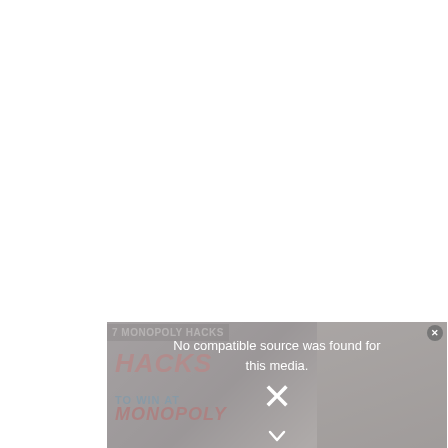[Figure (screenshot): Video player embed showing '7 MONOPOLY HACKS' with a thumbnail of the book cover 'HACKS TO WIN AT MONOPOLY' overlaid with a gray overlay and the message 'No compatible source was found for this media.' with an X close button and a circle close button.]